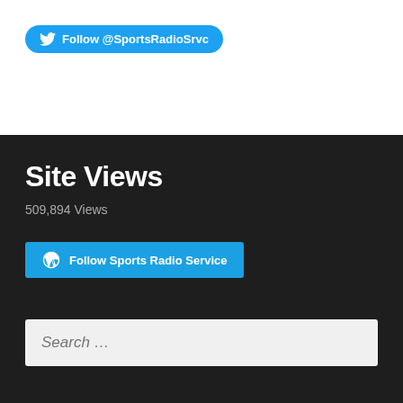[Figure (other): Twitter Follow button with bird icon and text 'Follow @SportsRadioSrvc' on a blue rounded pill button]
Site Views
509,894 Views
[Figure (other): WordPress Follow button with WordPress circle icon and text 'Follow Sports Radio Service' on a blue rounded rectangle button]
Search ...